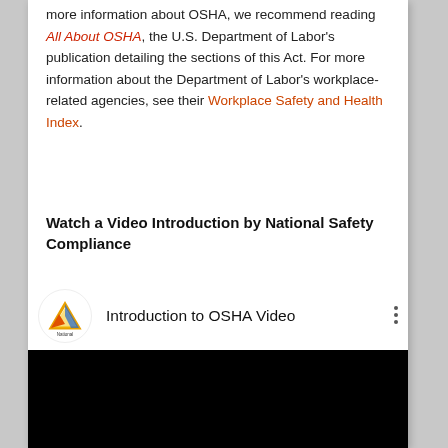more information about OSHA, we recommend reading All About OSHA, the U.S. Department of Labor's publication detailing the sections of this Act. For more information about the Department of Labor's workplace-related agencies, see their Workplace Safety and Health Index.
Watch a Video Introduction by National Safety Compliance
[Figure (screenshot): YouTube-style video embed showing 'Introduction to OSHA Video' with National Safety Compliance logo in a white circle on the left, video title text in the center, three-dot menu on the right, and a black video area below.]